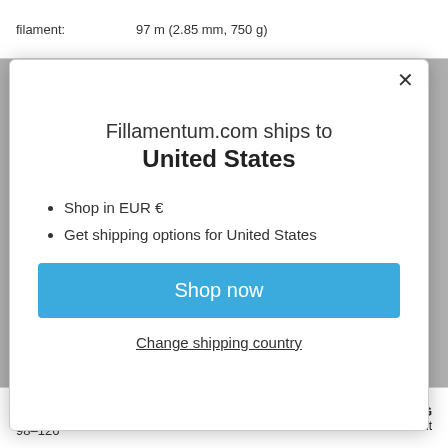filament: 97 m (2.85 mm, 750 g)
Fillamentum.com ships to
United States
Shop in EUR €
Get shipping options for United States
Shop now
Change shipping country
PETG
filament
98–126